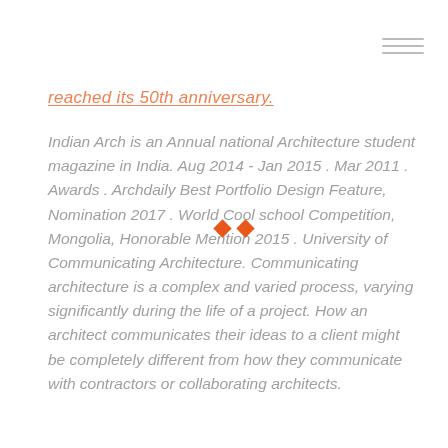reached its 50th anniversary.
Indian Arch is an Annual national Architecture student magazine in India. Aug 2014 - Jan 2015 . Mar 2011 . Awards . Archdaily Best Portfolio Design Feature, Nomination 2017 . World Cool school Competition, Mongolia, Honorable Mention 2015 . University of Communicating Architecture. Communicating architecture is a complex and varied process, varying significantly during the life of a project. How an architect communicates their ideas to a client might be completely different from how they communicate with contractors or collaborating architects.